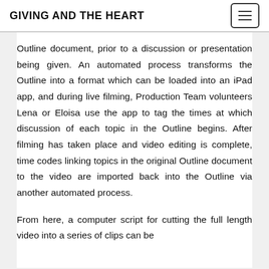GIVING AND THE HEART
Outline document, prior to a discussion or presentation being given. An automated process transforms the Outline into a format which can be loaded into an iPad app, and during live filming, Production Team volunteers Lena or Eloisa use the app to tag the times at which discussion of each topic in the Outline begins. After filming has taken place and video editing is complete, time codes linking topics in the original Outline document to the video are imported back into the Outline via another automated process.
From here, a computer script for cutting the full length video into a series of clips can be